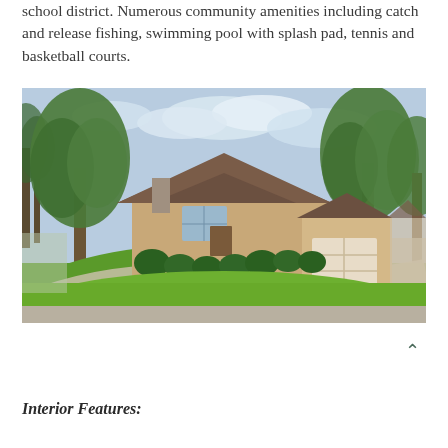school district. Numerous community amenities including catch and release fishing, swimming pool with splash pad, tennis and basketball courts.
[Figure (photo): Exterior photo of a single-story brick house with large green front lawn, mature trees, and a curved driveway on a suburban street.]
Interior Features: